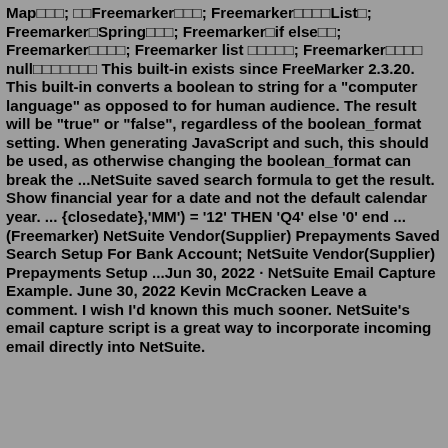Map□□□; □□Freemarker□□□; Freemarker□□□□List□; Freemarker□Spring□□□; Freemarker□if else□□; Freemarker□□□□; Freemarker list □□□□□; Freemarker□□□□ null□□□□□□□ This built-in exists since FreeMarker 2.3.20. This built-in converts a boolean to string for a "computer language" as opposed to for human audience. The result will be "true" or "false", regardless of the boolean_format setting. When generating JavaScript and such, this should be used, as otherwise changing the boolean_format can break the ...NetSuite saved search formula to get the result. Show financial year for a date and not the default calendar year. ... {closedate},'MM') = '12' THEN 'Q4' else '0' end ... (Freemarker) NetSuite Vendor(Supplier) Prepayments Saved Search Setup For Bank Account; NetSuite Vendor(Supplier) Prepayments Setup ...Jun 30, 2022 · NetSuite Email Capture Example. June 30, 2022 Kevin McCracken Leave a comment. I wish I'd known this much sooner. NetSuite's email capture script is a great way to incorporate incoming email directly into NetSuite.